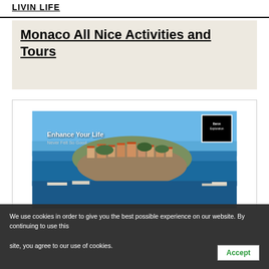Monaco All Nice Activities and Tours
[Figure (photo): Aerial/scenic photo of Monaco coastline with orange-roofed buildings on a rocky hillside, blue Mediterranean sea, harbor with boats. Text overlay: 'Enhance Your Life / Never Felt So Good'. Small black square logo top-right corner with text 'Baron Exploration'.]
We use cookies in order to give you the best possible experience on our website. By continuing to use this site, you agree to our use of cookies.
Accept